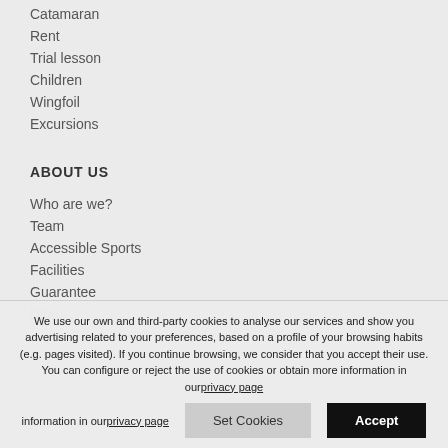Catamaran
Rent
Trial lesson
Children
Wingfoil
Excursions
ABOUT US
Who are we?
Team
Accessible Sports
Facilities
Guarantee
We use our own and third-party cookies to analyse our services and show you advertising related to your preferences, based on a profile of your browsing habits (e.g. pages visited). If you continue browsing, we consider that you accept their use. You can configure or reject the use of cookies or obtain more information in our privacy page
Set Cookies | Accept